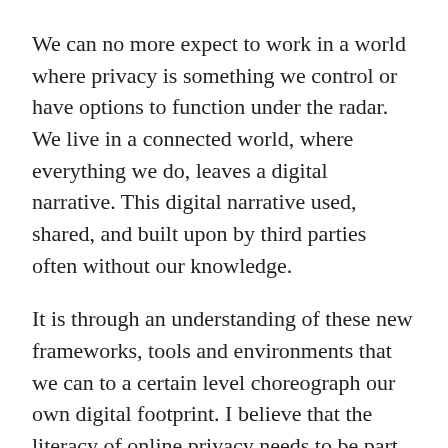We can no more expect to work in a world where privacy is something we control or have options to function under the radar. We live in a connected world, where everything we do, leaves a digital narrative. This digital narrative used, shared, and built upon by third parties often without our knowledge.
It is through an understanding of these new frameworks, tools and environments that we can to a certain level choreograph our own digital footprint. I believe that the literacy of online privacy needs to be part of our curriculum and learning for both adults and students. No privacy is the new privacy.
John@ http://beyonddigital.org